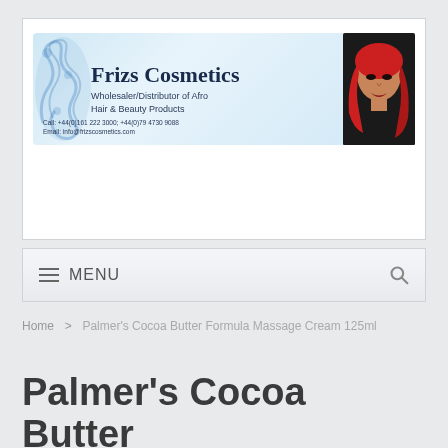[Figure (logo): Frizs Cosmetics logo banner with swirl decorative element, company name in serif font, subtitle 'Wholesaler/Distributor of Afro Hair & Beauty Products', contact phone and email details. To the right is a photo of a woman with bright red hair.]
≡ MENU 🔍
Home > Palmer's Cocoa Butter Formula Massage Cream 125ml
Palmer's Cocoa Butter